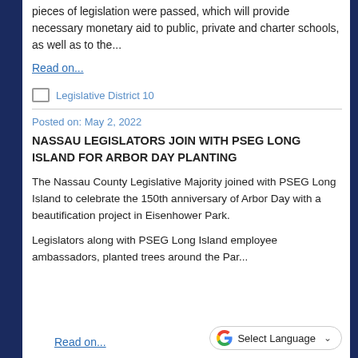pieces of legislation were passed, which will provide necessary monetary aid to public, private and charter schools, as well as to the...
Read on...
Legislative District 10
Posted on: May 2, 2022
NASSAU LEGISLATORS JOIN WITH PSEG LONG ISLAND FOR ARBOR DAY PLANTING
The Nassau County Legislative Majority joined with PSEG Long Island to celebrate the 150th anniversary of Arbor Day with a beautification project in Eisenhower Park.
Legislators along with PSEG Long Island employee ambassadors, planted trees around the Par...
Read on...